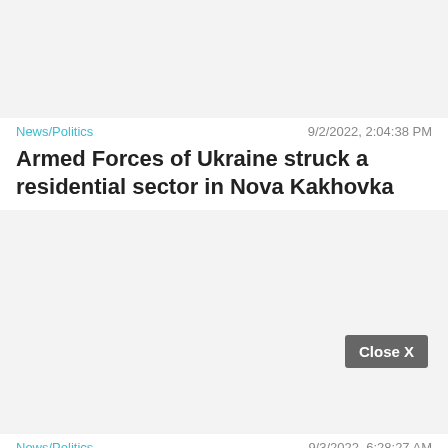[Figure (photo): Placeholder image area at top of first news article, light gray background]
News/Politics    9/2/2022, 2:04:38 PM
Armed Forces of Ukraine struck a residential sector in Nova Kakhovka
[Figure (photo): Placeholder image area for second news article with a Close X button overlay, light gray background]
News/Politics    9/3/2022, 6:28:27 AM
[Report file] K-Defense representatives